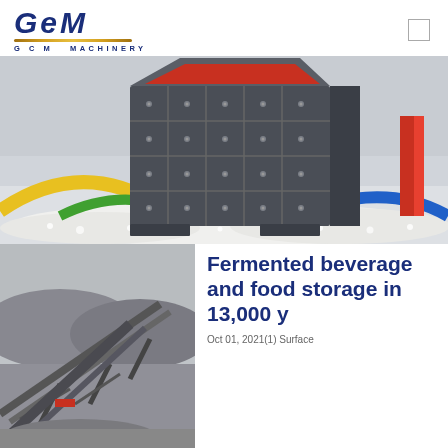[Figure (logo): GCM Machinery logo with dark blue stylized GEM text and gold underline, subtitle reads G C M MACHINERY]
[Figure (photo): Large dark grey industrial impact crusher/hammer mill machine sitting on white crushed stone/gravel inside a warehouse with colorful curved pipes/slides (yellow, blue, green, red) visible in the background]
[Figure (photo): Outdoor quarry or mining plant with conveyor belt structures, gravel piles, and industrial equipment on a grey overcast day]
Fermented beverage and food storage in 13,000 y
Oct 01, 2021(1) Surface